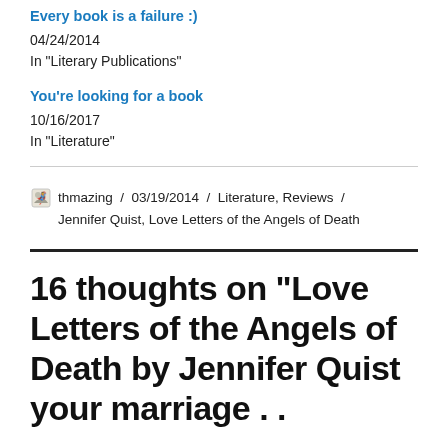Every book is a failure :)
04/24/2014
In "Literary Publications"
You're looking for a book
10/16/2017
In "Literature"
thmazing / 03/19/2014 / Literature, Reviews / Jennifer Quist, Love Letters of the Angels of Death
16 thoughts on “Love Letters of the Angels of Death by Jennifer Quist your marriage . .